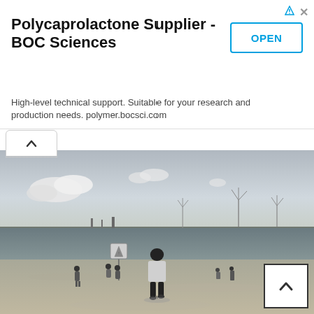Polycaprolactone Supplier - BOC Sciences
High-level technical support. Suitable for your research and production needs. polymer.bocsci.com
[Figure (photo): Black and white photograph of a beach scene with a person standing in the foreground facing away toward the water, wind turbines visible across the water on the horizon, and several other people scattered on the beach. Cloudy sky above.]